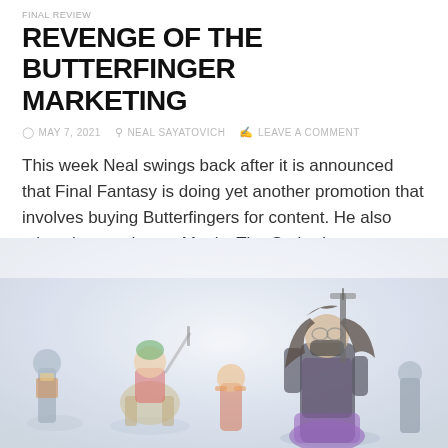FINAL REVIEW
REVENGE OF THE BUTTERFINGER MARKETING
MAY 7, 2021   NEAL SAYATOVICH   LEAVE A COMMENT
This week Neal swings back after it is announced that Final Fantasy is doing yet another promotion that involves buying Butterfingers for content. He also takes time to show a Magic: The Gathering case study.
[Figure (photo): Fantasy figurines and costumed characters in a misty/foggy white background scene, featuring a dark-haired female character with a sword on the right and colorful action figures on the left.]